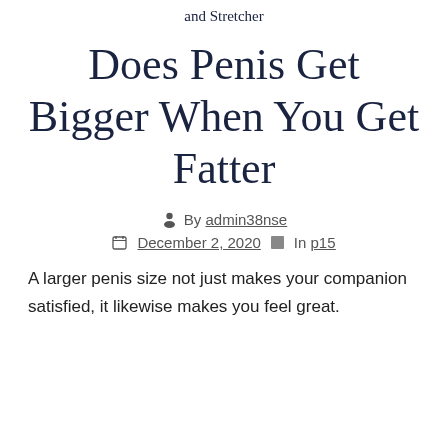and Stretcher
Does Penis Get Bigger When You Get Fatter
By admin38nse
December 2, 2020   In p15
A larger penis size not just makes your companion satisfied, it likewise makes you feel great.